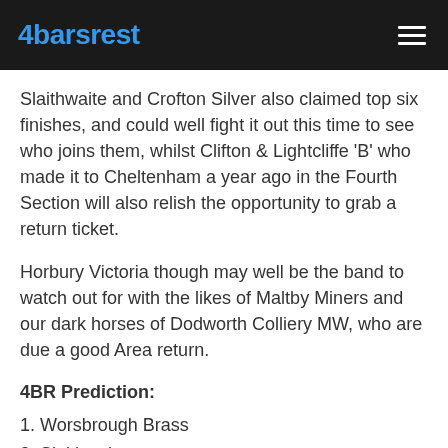4barsrest
Slaithwaite and Crofton Silver also claimed top six finishes, and could well fight it out this time to see who joins them, whilst Clifton & Lightcliffe 'B' who made it to Cheltenham a year ago in the Fourth Section will also relish the opportunity to grab a return ticket.
Horbury Victoria though may well be the band to watch out for with the likes of Maltby Miners and our dark horses of Dodworth Colliery MW, who are due a good Area return.
4BR Prediction:
1. Worsbrough Brass
2. Slaithwaite
3. Horbury Victoria
4. Crofton Silver